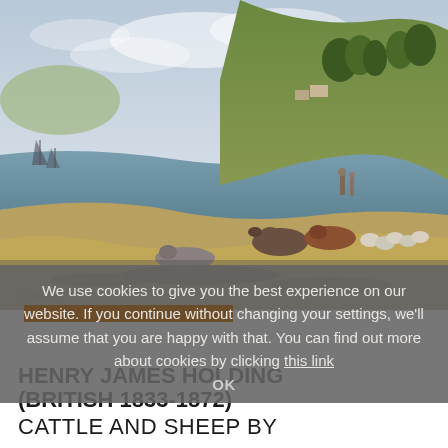[Figure (illustration): Watercolour painting of cattle and sheep resting by a coastal estuary with rolling hills, a shepherd in the background, and sailing boats on the water in the distance. Signed 'H. Holding' in lower left corner.]
We use cookies to give you the best experience on our website. If you continue without changing your settings, we'll assume that you are happy with that. You can find out more about cookies by clicking this link
OK
HENRY JAMES HOLDING (BRITISH 1833-1872)
CATTLE AND SHEEP BY